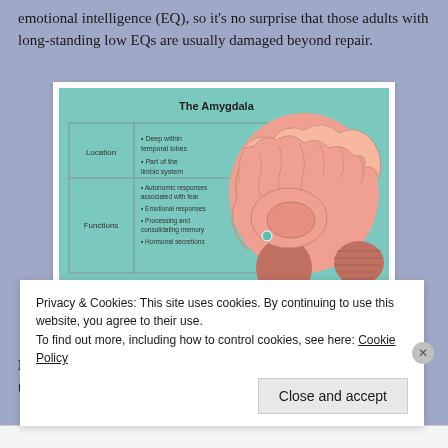emotional intelligence (EQ), so it's no surprise that those adults with long-standing low EQs are usually damaged beyond repair.
[Figure (illustration): Diagram of The Amygdala showing a side-profile brain illustration with a teal/green background. Left side has a table with two rows: Location (Deep within temporal lobes; Part of the limbic system) and Functions (Autonomic responses associated with fear; Emotional responses; Processing and consolidating memory; Hormonal secretions). A teal dot marks the amygdala on the brain illustration. ThoughtCo. logo at bottom left.]
Amygdala and its Functions
Privacy & Cookies: This site uses cookies. By continuing to use this website, you agree to their use.
To find out more, including how to control cookies, see here: Cookie Policy
Close and accept